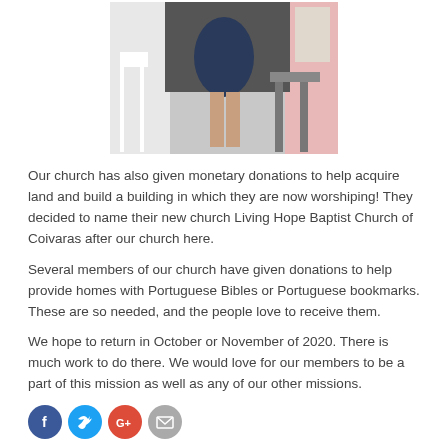[Figure (photo): Photo showing a person in a blue shirt standing in what appears to be a church or meeting space with white chairs and pink fabric visible.]
Our church has also given monetary donations to help acquire land and build a building in which they are now worshiping! They decided to name their new church Living Hope Baptist Church of Coivaras after our church here.
Several members of our church have given donations to help provide homes with Portuguese Bibles or Portuguese bookmarks. These are so needed, and the people love to receive them.
We hope to return in October or November of 2020. There is much work to do there. We would love for our members to be a part of this mission as well as any of our other missions.
[Figure (other): Social media icons: Facebook (blue circle with f), Twitter (cyan circle with bird), Google+ (red-orange circle with G+), Email (gray circle with envelope)]